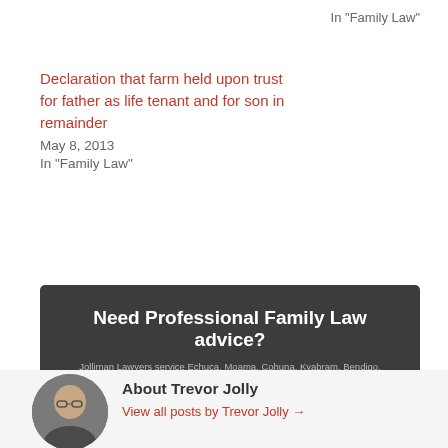In "Family Law"
Declaration that farm held upon trust for father as life tenant and for son in remainder
May 8, 2013
In "Family Law"
[Figure (infographic): Dark banner advertisement for Jolliman Lawyers family law services. Heading: Need Professional Family Law advice? Body text: Jolliman Lawyers service Echuca, Moama, Cohuna, Kyabram, Bendigo, Shepparton, Kerang, Swan Hill and all places in between. Call now on 03 5482 4003 for your free 30 minute consultation.]
About Trevor Jolly
View all posts by Trevor Jolly →